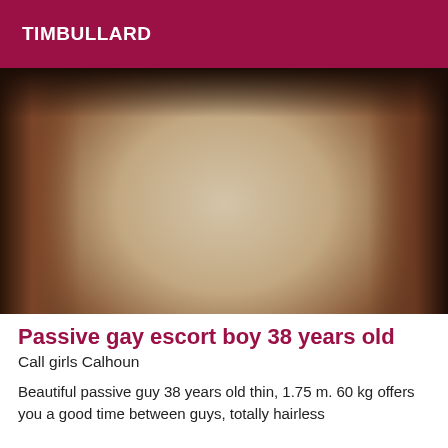TIMBULLARD
[Figure (photo): Close-up photo of a person's back, showing skin tones of brown and beige, with dark shadows on both sides.]
Passive gay escort boy 38 years old
Call girls Calhoun
Beautiful passive guy 38 years old thin, 1.75 m. 60 kg offers you a good time between guys, totally hairless